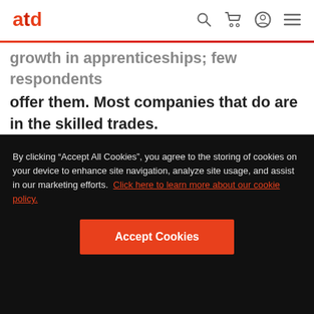atd [navigation icons: search, cart, account, menu]
growth in apprenticeships; few respondents offer them. Most companies that do are in the skilled trades.
The whitepaper includes an action plan for talent development professionals that identifies six steps to assess and close skills gaps in their organizations.
By clicking “Accept All Cookies”, you agree to the storing of cookies on your device to enhance site navigation, analyze site usage, and assist in our marketing efforts. Click here to learn more about our cookie policy.
Accept Cookies